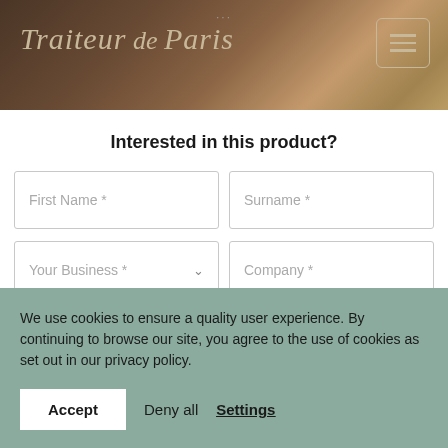[Figure (screenshot): Traiteur de Paris website header with dark brown background showing a food/pastry scene]
Traiteur de Paris
Interested in this product?
First Name *
Surname *
Your Business *
Company *
Email Address *
Phone *
We use cookies to ensure a quality user experience. By continuing to browse our site, you agree to the use of cookies as set out in our privacy policy.
Accept
Deny all
Settings